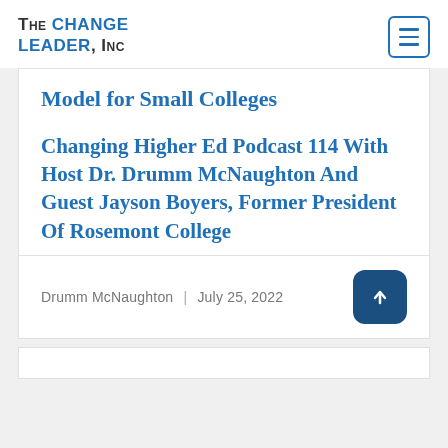The Change Leader, Inc
Model for Small Colleges
Changing Higher Ed Podcast 114 With Host Dr. Drumm McNaughton And Guest Jayson Boyers, Former President Of Rosemont College
Drumm McNaughton | July 25, 2022